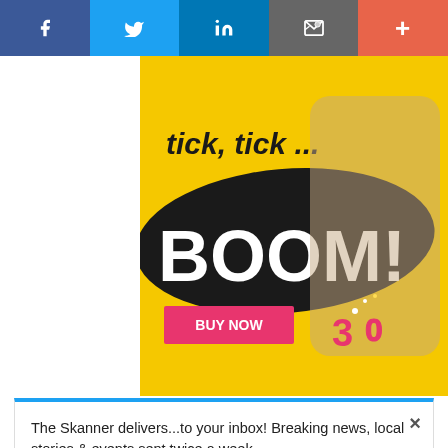[Figure (screenshot): Social media sharing bar with Facebook, Twitter, LinkedIn, email, and more buttons]
[Figure (photo): Advertisement for 'tick, tick... BOOM!' musical with a man in a plaid shirt holding sparklers, yellow background, large black brush stroke with 'BOOM!' text, 'BUY NOW' pink button, '30' in pink numbers]
[Figure (screenshot): Newsletter subscription popup from The Skanner with blue top border, close X button, subscribe button]
[Figure (screenshot): Tally credit card payoff advertisement with green branding and Download Now button]
[Figure (screenshot): Abogada Valentina Oronsaye legal services advertisement with phone number 713-334-7200]